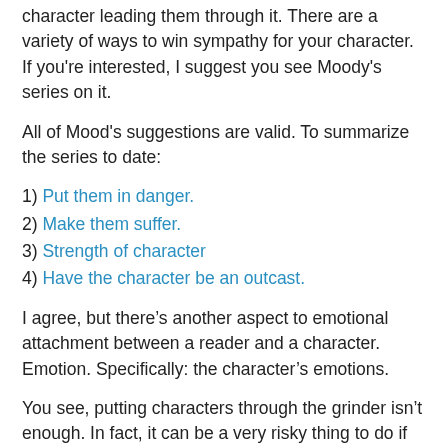character leading them through it. There are a variety of ways to win sympathy for your character. If you're interested, I suggest you see Moody's series on it.
All of Mood's suggestions are valid. To summarize the series to date:
1) Put them in danger.
2) Make them suffer.
3) Strength of character
4) Have the character be an outcast.
I agree, but there’s another aspect to emotional attachment between a reader and a character. Emotion. Specifically: the character’s emotions.
You see, putting characters through the grinder isn’t enough. In fact, it can be a very risky thing to do if it’s not coming organically out of the story.
Aside: “organic” as I’m using it now applies to both plotters and pantsers. There are things that happen in a story because it makes sense within the story (organic). Or things